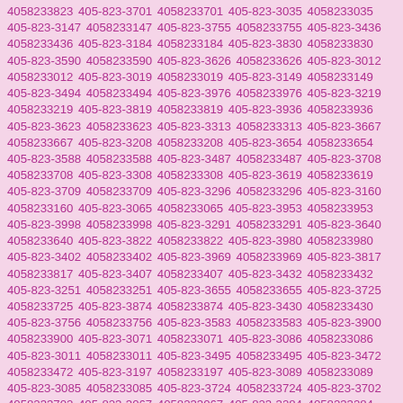4058233823 405-823-3701 4058233701 405-823-3035 4058233035 405-823-3147 4058233147 405-823-3755 4058233755 405-823-3436 4058233436 405-823-3184 4058233184 405-823-3830 4058233830 405-823-3590 4058233590 405-823-3626 4058233626 405-823-3012 4058233012 405-823-3019 4058233019 405-823-3149 4058233149 405-823-3494 4058233494 405-823-3976 4058233976 405-823-3219 4058233219 405-823-3819 4058233819 405-823-3936 4058233936 405-823-3623 4058233623 405-823-3313 4058233313 405-823-3667 4058233667 405-823-3208 4058233208 405-823-3654 4058233654 405-823-3588 4058233588 405-823-3487 4058233487 405-823-3708 4058233708 405-823-3308 4058233308 405-823-3619 4058233619 405-823-3709 4058233709 405-823-3296 4058233296 405-823-3160 4058233160 405-823-3065 4058233065 405-823-3953 4058233953 405-823-3998 4058233998 405-823-3291 4058233291 405-823-3640 4058233640 405-823-3822 4058233822 405-823-3980 4058233980 405-823-3402 4058233402 405-823-3969 4058233969 405-823-3817 4058233817 405-823-3407 4058233407 405-823-3432 4058233432 405-823-3251 4058233251 405-823-3655 4058233655 405-823-3725 4058233725 405-823-3874 4058233874 405-823-3430 4058233430 405-823-3756 4058233756 405-823-3583 4058233583 405-823-3900 4058233900 405-823-3071 4058233071 405-823-3086 4058233086 405-823-3011 4058233011 405-823-3495 4058233495 405-823-3472 4058233472 405-823-3197 4058233197 405-823-3089 4058233089 405-823-3085 4058233085 405-823-3724 4058233724 405-823-3702 4058233702 405-823-3067 4058233067 405-823-3284 4058233284 405-823-3099 4058233099 405-823-3693 4058233693 405-823-3135 4058233135 405-823-3414 4058233414 405-823-3578 4058233578